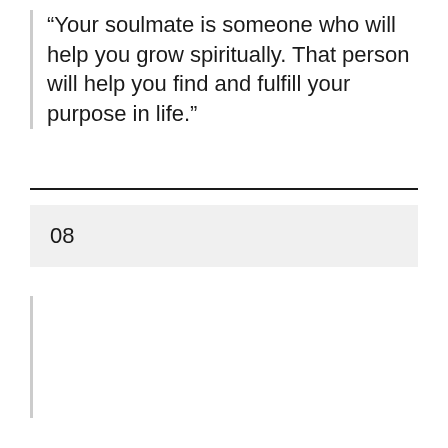“Your soulmate is someone who will help you grow spiritually. That person will help you find and fulfill your purpose in life.”
08